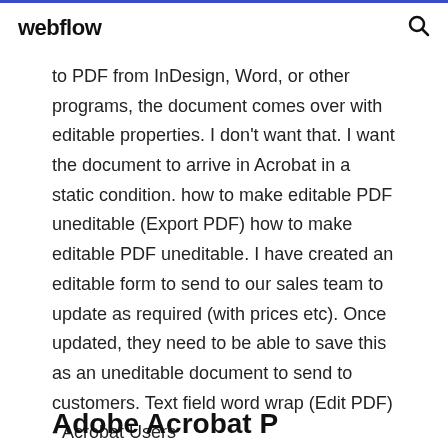webflow
to PDF from InDesign, Word, or other programs, the document comes over with editable properties. I don't want that. I want the document to arrive in Acrobat in a static condition. how to make editable PDF uneditable (Export PDF) how to make editable PDF uneditable. I have created an editable form to send to our sales team to update as required (with prices etc). Once updated, they need to be able to save this as an uneditable document to send to customers. Text field word wrap (Edit PDF) - Acrobat Users
Adobe Acrobat P...